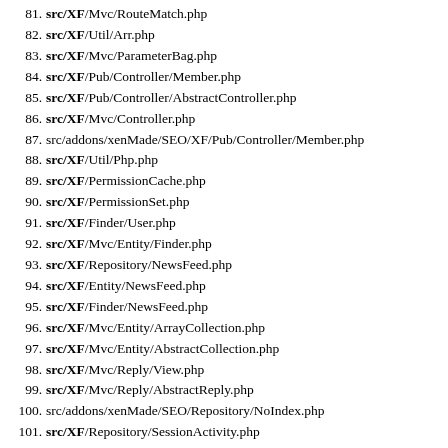81. src/XF/Mvc/RouteMatch.php
82. src/XF/Util/Arr.php
83. src/XF/Mvc/ParameterBag.php
84. src/XF/Pub/Controller/Member.php
85. src/XF/Pub/Controller/AbstractController.php
86. src/XF/Mvc/Controller.php
87. src/addons/xenMade/SEO/XF/Pub/Controller/Member.php
88. src/XF/Util/Php.php
89. src/XF/PermissionCache.php
90. src/XF/PermissionSet.php
91. src/XF/Finder/User.php
92. src/XF/Mvc/Entity/Finder.php
93. src/XF/Repository/NewsFeed.php
94. src/XF/Entity/NewsFeed.php
95. src/XF/Finder/NewsFeed.php
96. src/XF/Mvc/Entity/ArrayCollection.php
97. src/XF/Mvc/Entity/AbstractCollection.php
98. src/XF/Mvc/Reply/View.php
99. src/XF/Mvc/Reply/AbstractReply.php
100. src/addons/xenMade/SEO/Repository/NoIndex.php
101. src/XF/Repository/SessionActivity.php
102. src/XF/Data/Robot.php
103. src/XF/Style.php
104. src/XF/Template/Templater.php
105. src/addons/xenMade/SEO/XF/Template/Templater.php
106. src/addons/BR/ModernStatistic/XF/Template/Templater.php